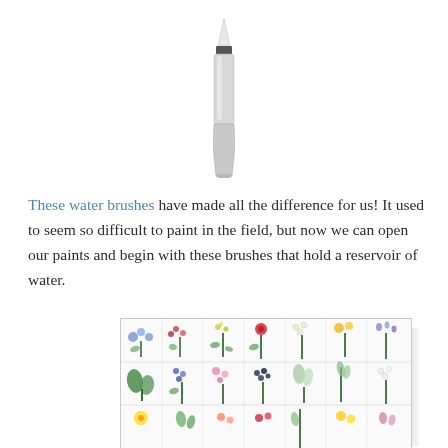[Figure (photo): A water brush pen with a translucent barrel/reservoir and a pointed tip, shown vertically oriented against a white background.]
These water brushes have made all the difference for us! It used to seem so difficult to paint in the field, but now we can open our paints and begin with these brushes that hold a reservoir of water.
[Figure (illustration): A grid of botanical watercolor illustrations showing various wildflowers and herbs arranged in rows. The top row shows approximately 7 different flowering plants, the middle row shows another 7 plants, and the bottom row is partially visible showing more plants.]